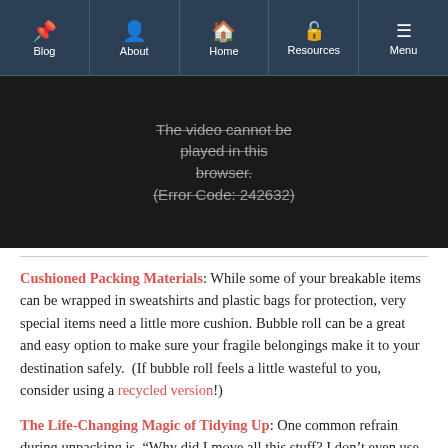Blog | About | Home | Resources | Menu
[Figure (screenshot): Black video player area with error message: 'The video cannot be played in this browser. (Error Code: 242632)']
Cushioned Packing Materials: While some of your breakable items can be wrapped in sweatshirts and plastic bags for protection, very special items need a little more cushion. Bubble roll can be a great and easy option to make sure your fragile belongings make it to your destination safely.  (If bubble roll feels a little wasteful to you, consider using a recycled version!)
The Life-Changing Magic of Tidying Up: One common refrain during unpacking is, “Why did I move all this stuff? I don’t even use it!” Instead of dragging all your belongings to your next station and then